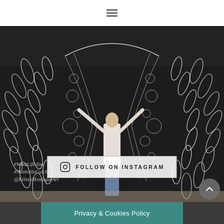≡ (hamburger menu icon)
[Figure (photo): Person standing in front of a large black mural of detailed white wings (#WhatLiftsYou #NashvilleGulch @KelseyMontaguéArt). The figure stands center with arms raised touching the wings.]
FOLLOW ON INSTAGRAM
COPYRIGHT © 2022 ... EL SUPPLIES
Privacy & Cookies Policy